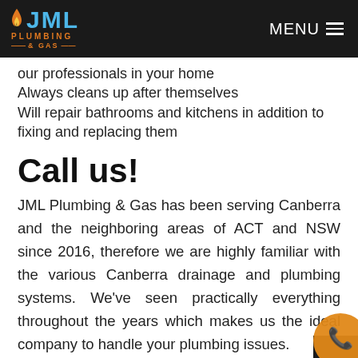[Figure (logo): JML Plumbing & Gas logo with flame icon on black header bar, with MENU hamburger icon on the right]
our professionals in your home
Always cleans up after themselves
Will repair bathrooms and kitchens in addition to fixing and replacing them
Call us!
JML Plumbing & Gas has been serving Canberra and the neighboring areas of ACT and NSW since 2016, therefore we are highly familiar with the various Canberra drainage and plumbing systems. We've seen practically everything throughout the years which makes us the ideal company to handle your plumbing issues.
We hire the best-licensed plumbers and drainage